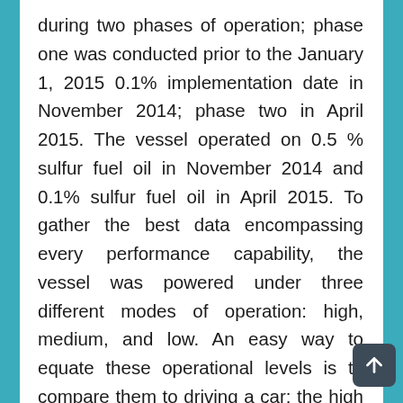during two phases of operation; phase one was conducted prior to the January 1, 2015 0.1% implementation date in November 2014; phase two in April 2015. The vessel operated on 0.5 % sulfur fuel oil in November 2014 and 0.1% sulfur fuel oil in April 2015. To gather the best data encompassing every performance capability, the vessel was powered under three different modes of operation: high, medium, and low. An easy way to equate these operational levels is to compare them to driving a car: the high mode would be like driving on a highway, medium would be local travel in a town, and low would be at idle. The authors used direct